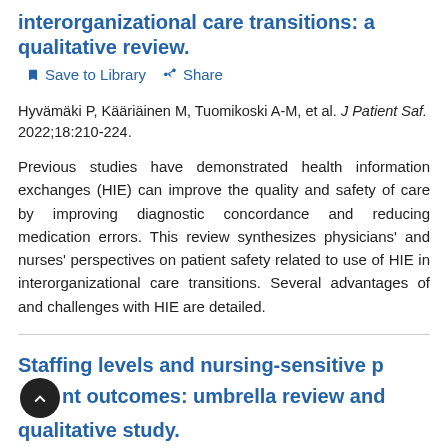interorganizational care transitions: a qualitative review.
Save to Library   Share
Hyvämäki P, Kääriäinen M, Tuomikoski A-M, et al. J Patient Saf. 2022;18:210-224.
Previous studies have demonstrated health information exchanges (HIE) can improve the quality and safety of care by improving diagnostic concordance and reducing medication errors. This review synthesizes physicians' and nurses' perspectives on patient safety related to use of HIE in interorganizational care transitions. Several advantages of and challenges with HIE are detailed.
Staffing levels and nursing-sensitive patient outcomes: umbrella review and qualitative study.